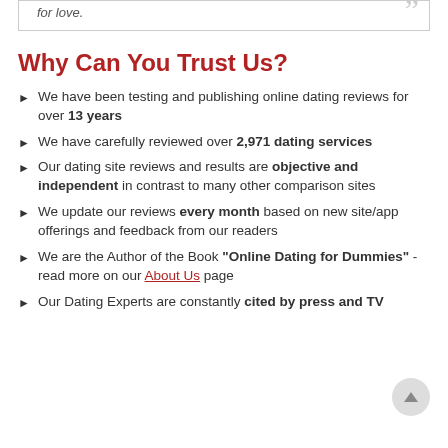for love.
Why Can You Trust Us?
We have been testing and publishing online dating reviews for over 13 years
We have carefully reviewed over 2,971 dating services
Our dating site reviews and results are objective and independent in contrast to many other comparison sites
We update our reviews every month based on new site/app offerings and feedback from our readers
We are the Author of the Book "Online Dating for Dummies" - read more on our About Us page
Our Dating Experts are constantly cited by press and TV